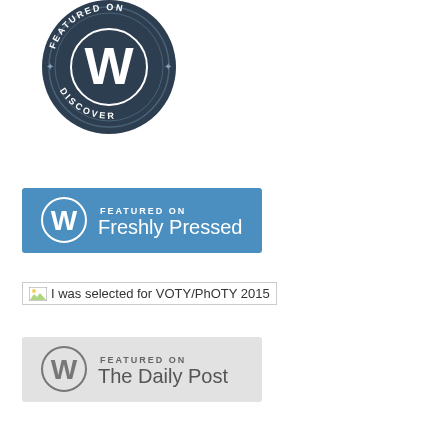[Figure (logo): WordPress 'Featured on Discover' circular badge with dark navy background, white WordPress 'W' logo in center, text 'FEATURED ON' at top and 'DISCOVER' at bottom, decorative asterisks/stars on sides]
[Figure (logo): WordPress 'Featured on Freshly Pressed' rectangular badge with blue background, white WordPress 'W' logo on left, white text 'FEATURED ON' small above 'Freshly Pressed' large]
[Figure (logo): Broken image placeholder with alt text 'I was selected for VOTY/PhOTY 2015']
[Figure (logo): WordPress 'Featured on The Daily Post' rectangular badge with light gray background, gray WordPress 'W' logo on left, gray text 'FEATURED ON' small above 'The Daily Post' large]